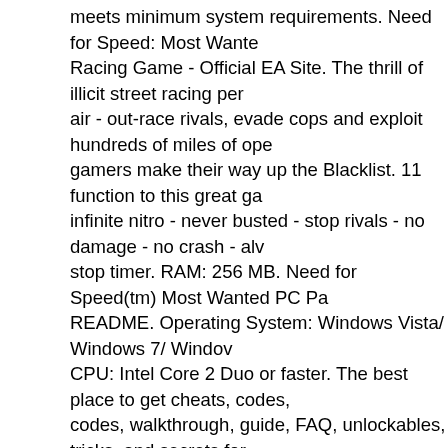meets minimum system requirements. Need for Speed: Most Wanted Racing Game - Official EA Site. The thrill of illicit street racing per air - out-race rivals, evade cops and exploit hundreds of miles of ope gamers make their way up the Blacklist. 11 function to this great ga infinite nitro - never busted - stop rivals - no damage - no crash - alv stop timer. RAM: 256 MB. Need for Speed(tm) Most Wanted PC Pa README. Operating System: Windows Vista/ Windows 7/ Windov CPU: Intel Core 2 Duo or faster. The best place to get cheats, codes, codes, walkthrough, guide, FAQ, unlockables, tricks, and secrets for Speed: Most Wanted (Criterion - 2012) for PC. Need For Speed Mo 2012 Download Pc Game Overview. It is full and complete game. C For Speed Most Wanted Pc. Graphics: Radeon 3870 / GeForce 8800 Unleashed. Mount or burn image 2. The thrill of illicit street racing the air - out-race rivals, evade cops and exploit hundreds of miles of as gamers make their way up the Blacklist. Need for Speed™ Most Ultimate Speed Pack. The Need For Speed II. Just download and sta it. The Need For Speed. Earn the right to be Most Wanted.For too lo had … 2012's Need for Speed Most Wanted is now free for Windov Buckle up, hit the gas and make trouble. We have no guides or FAQ for Speed: Most Wanted Black Edition yet. We Provide a 100 % saf complete offline installer setup of Need for Speed Most Wanted 201